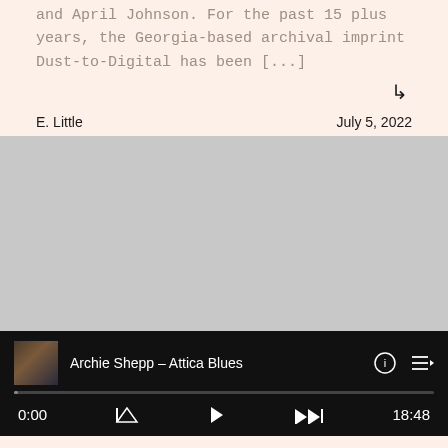and April Johnson. For the past 15 plus years, the Georgia-based archival imprint Dust-to-Digital has been [...]
↳
E. Little
July 5, 2022
[Figure (photo): Large gray placeholder image area]
Archie Shepp – Attica Blues
0:00
18:48